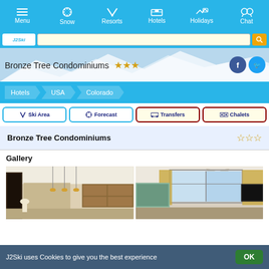Menu | Snow | Resorts | Hotels | Holidays | Chat
Bronze Tree Condominiums ★★★
Hotels > USA > Colorado
Ski Area
Forecast
Transfers
Chalets
Bronze Tree Condominiums ★★★
Gallery
[Figure (photo): Interior room photo of Bronze Tree Condominiums showing living/kitchen area with pendant lights and wooden cabinetry]
[Figure (photo): Interior room photo of Bronze Tree Condominiums showing room with ceiling fan, large windows, curtains and TV]
J2Ski uses Cookies to give you the best experience  OK